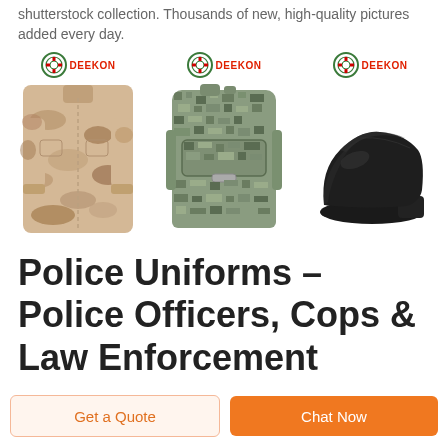shutterstock collection. Thousands of new, high-quality pictures added every day.
[Figure (photo): Three product images side by side: a desert camouflage military jacket, a digital camouflage military backpack, and a black leather dress shoe. Each of the first two has a DEEKON brand logo above them.]
Police Uniforms - Police Officers, Cops & Law Enforcement
Research Uniform manufacturers, distributors, resources,
Get a Quote
Chat Now